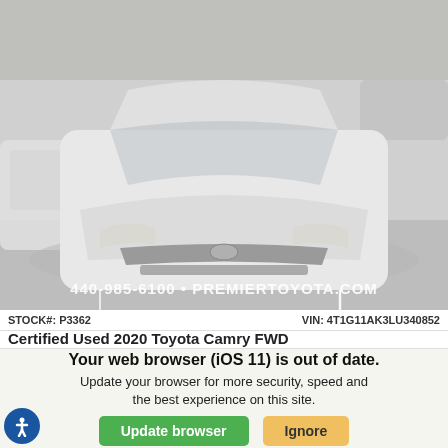[Figure (photo): Certified Used 2020 Toyota Camry FWD white car photographed from front in a dealership parking lot. Watermark reads: 440-985-6100 • PREMIERTOYOTA.COM]
STOCK#: P3362   VIN: 4T1G11AK3LU340852
Certified Used 2020 Toyota Camry FWD
Your web browser (iOS 11) is out of date. Update your browser for more security, speed and the best experience on this site.
Update browser
Ignore